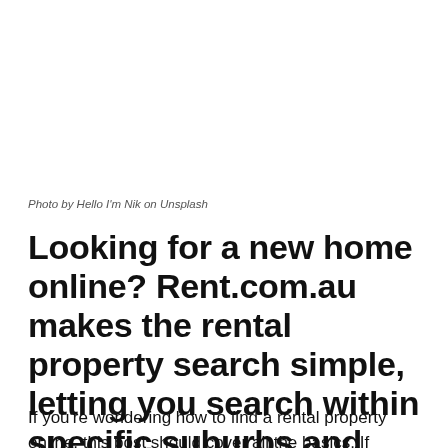Photo by Hello I'm Nik on Unsplash
Looking for a new home online? Rent.com.au makes the rental property search simple, letting you search within specific suburbs and price points to browse through houses and apartments for lease.
If you're wondering how to find a rental property online, this post should cover all the basics. If